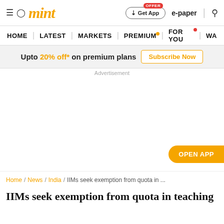mint
HOME | LATEST | MARKETS | PREMIUM | FOR YOU | WA
Upto 20% off* on premium plans  Subscribe Now
Advertisement
OPEN APP
Home / News / India / IIMs seek exemption from quota in ...
IIMs seek exemption from quota in teaching